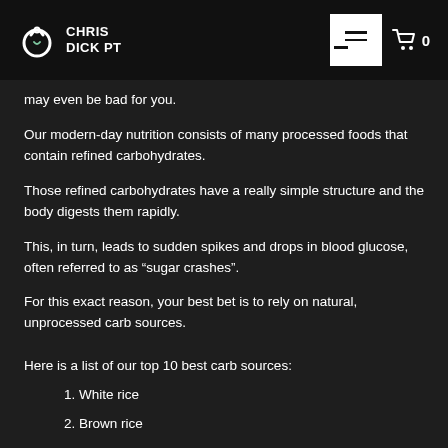CHRIS DICK PT
may even be bad for you.
Our modern-day nutrition consists of many processed foods that contain refined carbohydrates.
Those refined carbohydrates have a really simple structure and the body digests them rapidly.
This, in turn, leads to sudden spikes and drops in blood glucose, often referred to as “sugar crashes”.
For this exact reason, your best bet is to rely on natural, unprocessed carb sources.
Here is a list of our top 10 best carb sources:
1. White rice
2. Brown rice
3. Fruits